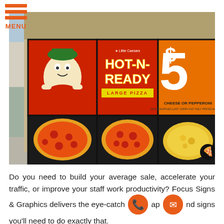[Figure (photo): Photo of Little Caesars storefront with large window advertising signs showing HOT-N-READY large pizza for $5, cheese or pepperoni, with the Little Caesars mascot and pizza images on an orange and red background.]
Do you need to build your average sale, accelerate your traffic, or improve your staff work productivity? Focus Signs & Graphics delivers the eye-catching and signs you'll need to do exactly that.